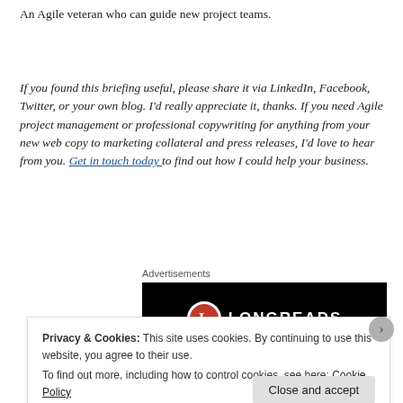An Agile veteran who can guide new project teams.
If you found this briefing useful, please share it via LinkedIn, Facebook, Twitter, or your own blog. I'd really appreciate it, thanks. If you need Agile project management or professional copywriting for anything from your new web copy to marketing collateral and press releases, I'd love to hear from you. Get in touch today to find out how I could help your business.
Advertisements
[Figure (logo): Longreads logo on black background with red circle containing letter L]
Privacy & Cookies: This site uses cookies. By continuing to use this website, you agree to their use.
To find out more, including how to control cookies, see here: Cookie Policy
Close and accept